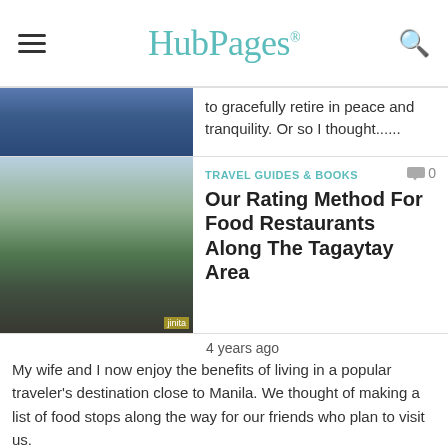HubPages
to gracefully retire in peace and tranquility. Or so I thought......
TRAVEL GUIDES & BOOKS  0
Our Rating Method For Food Restaurants Along The Tagaytay Area
4 years ago
My wife and I now enjoy the benefits of living in a popular traveler's destination close to Manila. We thought of making a list of food stops along the way for our friends who plan to visit us.
ROAD TRIPS  0
A Beautiful Stopover on the Road to...